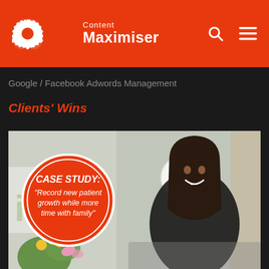Content Maximiser
Google / Facebook Adwords Management
Clients' Wins
[Figure (photo): Woman with dark hair smiling in a clinic/office setting (dentist office with 'ist' partial logo visible), wearing black top, with flowers in foreground. Overlaid with a red circular badge reading: CASE STUDY: "Record new patient growth while more time with family"]